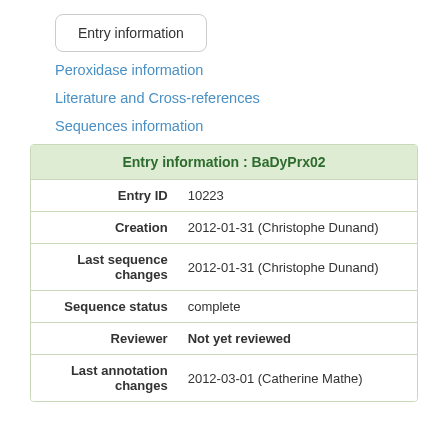Entry information
Peroxidase information
Literature and Cross-references
Sequences information
| Entry information : BaDyPrx02 |
| --- |
| Entry ID | 10223 |
| Creation | 2012-01-31 (Christophe Dunand) |
| Last sequence changes | 2012-01-31 (Christophe Dunand) |
| Sequence status | complete |
| Reviewer | Not yet reviewed |
| Last annotation changes | 2012-03-01 (Catherine Mathe) |